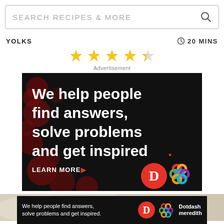SEARCH RECIPES & MORE
YOLKS   20 MINS
[Figure (other): 4.5 star rating shown with yellow stars]
Advertisement
[Figure (other): Dotdash Meredith advertisement banner: 'We help people find answers, solve problems and get inspired. LEARN MORE' with Dotdash and Dotdash Meredith logos on black background with dark red bokeh dots]
[Figure (photo): Two food images partially visible at bottom of page]
[Figure (other): Bottom sticky ad banner: 'We help people find answers, solve problems and get inspired.' with Dotdash and Dotdash Meredith logos on black background]